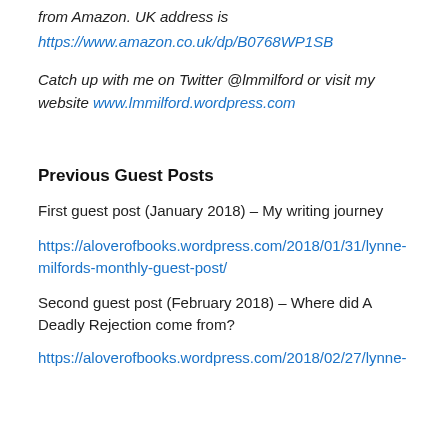from Amazon. UK address is https://www.amazon.co.uk/dp/B0768WP1SB
Catch up with me on Twitter @lmmilford or visit my website www.lmmilford.wordpress.com
Previous Guest Posts
First guest post (January 2018) – My writing journey
https://aloverofbooks.wordpress.com/2018/01/31/lynne-milfords-monthly-guest-post/
Second guest post (February 2018) – Where did A Deadly Rejection come from?
https://aloverofbooks.wordpress.com/2018/02/27/lynne-